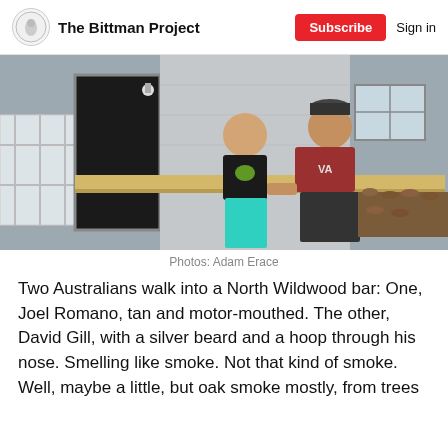The Bittman Project | Subscribe | Sign in
[Figure (photo): Two men standing in front of a stone/concrete building exterior near a wooden bar counter. Left man wears black t-shirt and teal shorts, right man wears red t-shirt and dark shorts. Firewood stacked in background.]
Photos: Adam Erace
Two Australians walk into a North Wildwood bar: One, Joel Romano, tan and motor-mouthed. The other, David Gill, with a silver beard and a hoop through his nose. Smelling like smoke. Not that kind of smoke. Well, maybe a little, but oak smoke mostly, from trees